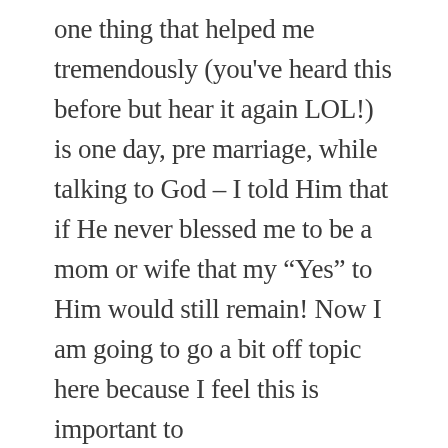one thing that helped me tremendously (you've heard this before but hear it again LOL!) is one day, pre marriage, while talking to God – I told Him that if He never blessed me to be a mom or wife that my “Yes” to Him would still remain! Now I am going to go a bit off topic here because I feel this is important to